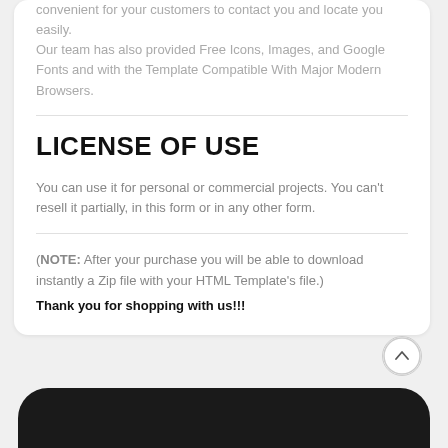convenient for your customers to contact you and locate you easily. Our team has also provided Free Icons, Images, and Google Fonts and with the Template Compatible With Major Modern Browsers.
LICENSE OF USE
You can use it for personal or commercial projects. You can't resell it partially, in this form or in any other form.
(NOTE: After your purchase you will be able to download instantly a Zip file with your HTML Template's file.) Thank you for shopping with us!!!